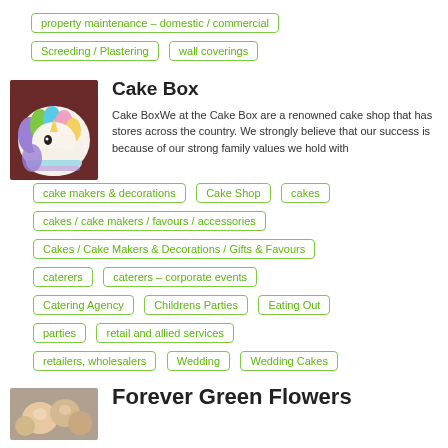property maintenance – domestic / commercial
Screeding / Plastering
wall coverings
[Figure (photo): A unicorn-shaped cake with pastel colored frosting]
Cake Box
Cake BoxWe at the Cake Box are a renowned cake shop that has stores across the country. We strongly believe that our success is because of our strong family values we hold with
cake makers & decorations
Cake Shop
cakes
cakes / cake makers / favours / accessories
Cakes / Cake Makers & Decorations / Gifts & Favours
caterers
caterers – corporate events
Catering Agency
Childrens Parties
Eating Out
parties
retail and allied services
retailers, wholesalers
Wedding
Wedding Cakes
[Figure (photo): A photo of flowers]
Forever Green Flowers